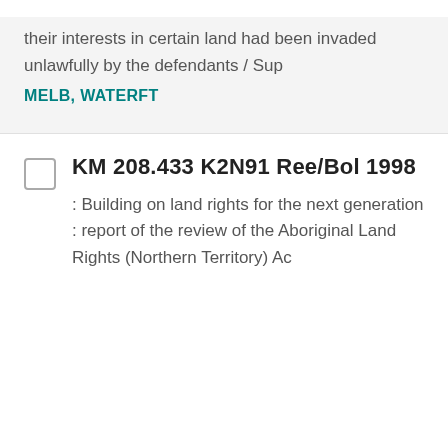their interests in certain land had been invaded unlawfully by the defendants / Sup
MELB, WATERFT
KM 208.433 K2N91 Ree/Bol 1998
: Building on land rights for the next generation : report of the review of the Aboriginal Land Rights (Northern Territory) Ac...